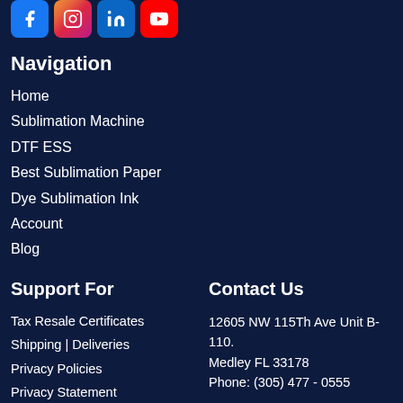[Figure (other): Social media icons: Facebook (blue), Instagram (gradient), LinkedIn (blue), YouTube (red)]
Navigation
Home
Sublimation Machine
DTF ESS
Best Sublimation Paper
Dye Sublimation Ink
Account
Blog
Support For
Tax Resale Certificates
Shipping | Deliveries
Privacy Policies
Privacy Statement
Contact Us
12605 NW 115Th Ave Unit B-110.
Medley FL 33178
Phone: (305) 477 - 0555